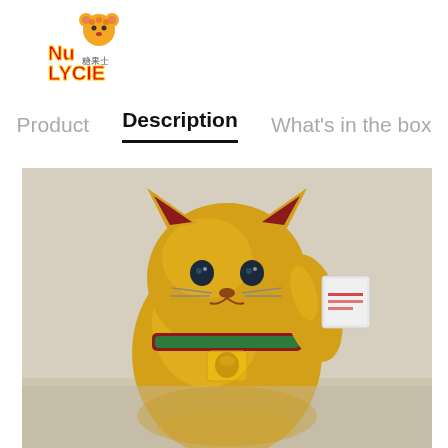[Figure (logo): NuLycie brand logo with bear icon and orange/red text]
Product   Description   What's in the box
[Figure (photo): A golden lucky cat (Maneki-neko) figurine with red ears, green collar, and raised paw holding a white/grey block, photographed against a light background. The bottom portion of the image is reflected/blurred.]